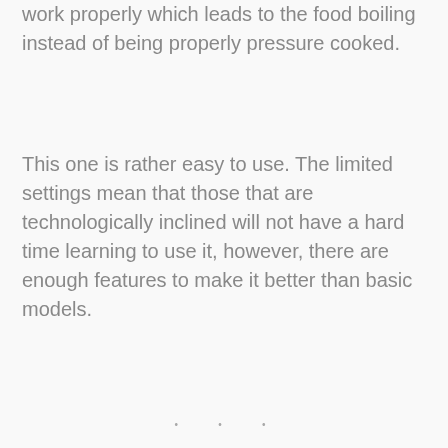work properly which leads to the food boiling instead of being properly pressure cooked.
This one is rather easy to use. The limited settings mean that those that are technologically inclined will not have a hard time learning to use it, however, there are enough features to make it better than basic models.